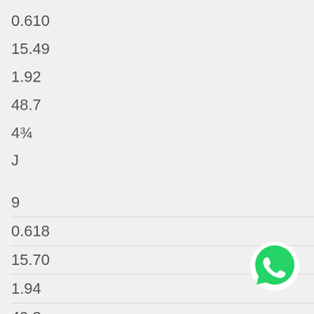0.610
15.49
1.92
48.7
4¾
J
9
0.618
15.70
1.94
49.3
5
J½
[Figure (logo): WhatsApp green phone logo icon]